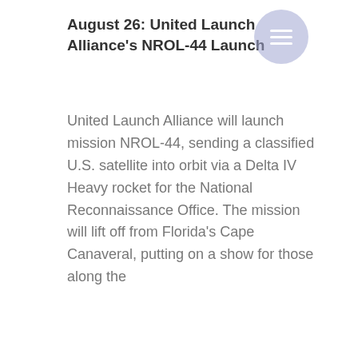August 26: United Launch Alliance's NROL-44 Launch
United Launch Alliance will launch mission NROL-44, sending a classified U.S. satellite into orbit via a Delta IV Heavy rocket for the National Reconnaissance Office. The mission will lift off from Florida's Cape Canaveral, putting on a show for those along the [continues]
OGN Daily use cookies to enable services and functionality on our site and to understand what you're interested in. By clicking on accept, you agree to our use of such technologies for marketing and analytics. Thank you! See Privacy Policy
Decline All
Accept
Cookie Settings